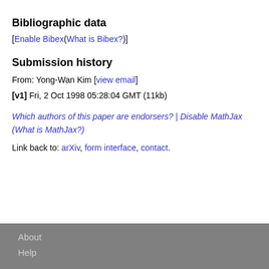Bibliographic data
[Enable Bibex(What is Bibex?)]
Submission history
From: Yong-Wan Kim [view email]
[v1] Fri, 2 Oct 1998 05:28:04 GMT (11kb)
Which authors of this paper are endorsers? | Disable MathJax (What is MathJax?)
Link back to: arXiv, form interface, contact.
About Help